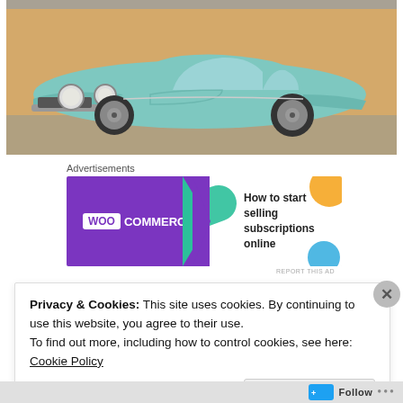[Figure (photo): A teal/light green classic sports car (appears to be a Studebaker Avanti or similar vintage coupe) parked in front of a tan/orange wall. The car has round headlights and wire spoke wheels.]
Advertisements
[Figure (other): WooCommerce advertisement banner: purple left section with WooCommerce logo, right section with text 'How to start selling subscriptions online' and decorative colored shapes (teal, orange, blue).]
REPORT THIS AD
Privacy & Cookies: This site uses cookies. By continuing to use this website, you agree to their use.
To find out more, including how to control cookies, see here: Cookie Policy
Close and accept